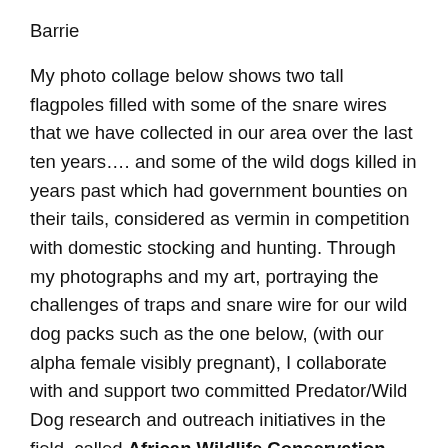Barrie
My photo collage below shows two tall flagpoles filled with some of the snare wires that we have collected in our area over the last ten years…. and some of the wild dogs killed in years past which had government bounties on their tails, considered as vermin in competition with domestic stocking and hunting. Through my photographs and my art, portraying the challenges of traps and snare wire for our wild dog packs such as the one below, (with our alpha female visibly pregnant), I collaborate with and support two committed Predator/Wild Dog research and outreach initiatives in the field, called African Wildlife Conservation Fund and Painted Dog Conservation. Hands on Conservation, monitoring of pack health and dens, and removal of wire snares plus community outreach, library and education programmes are ongoing